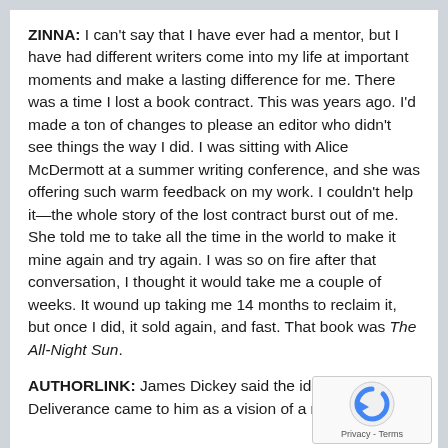ZINNA: I can't say that I have ever had a mentor, but I have had different writers come into my life at important moments and make a lasting difference for me. There was a time I lost a book contract. This was years ago. I'd made a ton of changes to please an editor who didn't see things the way I did. I was sitting with Alice McDermott at a summer writing conference, and she was offering such warm feedback on my work. I couldn't help it—the whole story of the lost contract burst out of me. She told me to take all the time in the world to make it mine again and try again. I was so on fire after that conversation, I thought it would take me a couple of weeks. It wound up taking me 14 months to reclaim it, but once I did, it sold again, and fast. That book was The All-Night Sun.
AUTHORLINK: James Dickey said the idea for Deliverance came to him as a vision of a man standing